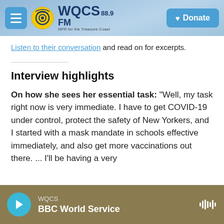WQCS 88.9 FM – NPR for the Treasure Coast | Donate
Listen to their conversation and read on for excerpts.
Interview highlights
On how she sees her essential task: "Well, my task right now is very immediate. I have to get COVID-19 under control, protect the safety of New Yorkers, and I started with a mask mandate in schools effective immediately, and also get more vaccinations out there. ... I'll be having a very
WQCS · BBC World Service